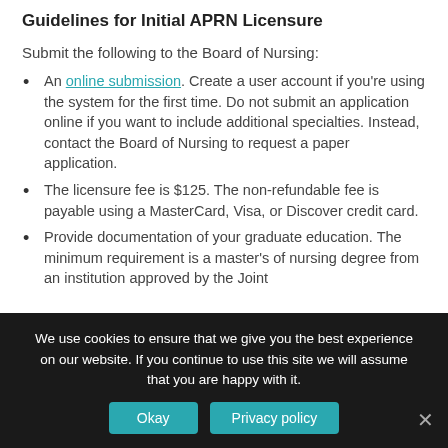Guidelines for Initial APRN Licensure
Submit the following to the Board of Nursing:
An online submission. Create a user account if you're using the system for the first time. Do not submit an application online if you want to include additional specialties. Instead, contact the Board of Nursing to request a paper application.
The licensure fee is $125. The non-refundable fee is payable using a MasterCard, Visa, or Discover credit card.
Provide documentation of your graduate education. The minimum requirement is a master's of nursing degree from an institution approved by the Joint
We use cookies to ensure that we give you the best experience on our website. If you continue to use this site we will assume that you are happy with it.